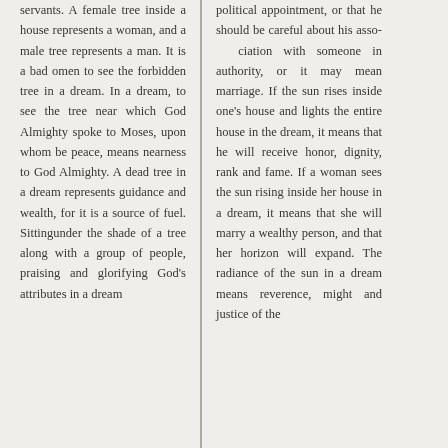servants. A female tree inside a house represents a woman, and a male tree represents a man. It is a bad omen to see the forbidden tree in a dream. In a dream, to see the tree near which God Almighty spoke to Moses, upon whom be peace, means nearness to God Almighty. A dead tree in a dream represents guidance and wealth, for it is a source of fuel. Sittingunder the shade of a tree along with a group of people, praising and glorifying God's attributes in a dream
political appointment, or that he should be careful about his asso- ciation with someone in authority, or it may mean marriage. If the sun rises inside one's house and lights the entire house in the dream, it means that he will receive honor, dignity, rank and fame. If a woman sees the sun rising inside her house in a dream, it means that she will marry a wealthy person, and that her horizon will expand. The radiance of the sun in a dream means reverence, might and justice of the